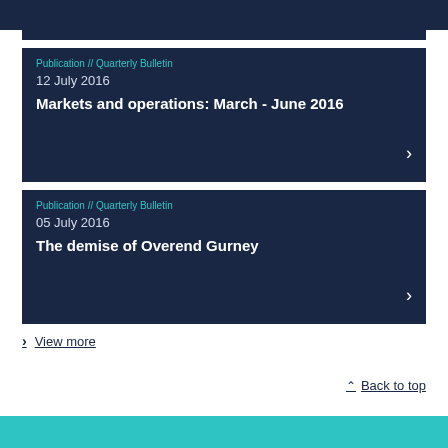Publication // Quarterly Bulletin
12 July 2016
Markets and operations: March - June 2016
Publication // Quarterly Bulletin
05 July 2016
The demise of Overend Gurney
> View more
Back to top